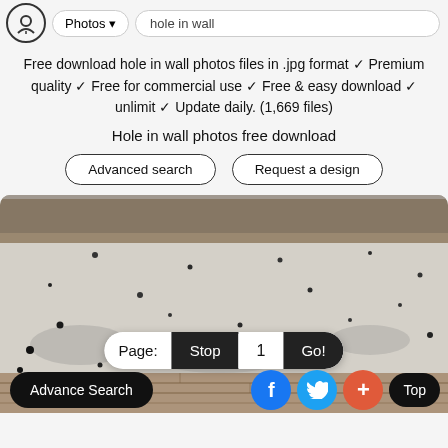Photos | hole in wall
Free download hole in wall photos files in .jpg format ✓ Premium quality ✓ Free for commercial use ✓ Free & easy download ✓ unlimit ✓ Update daily. (1,669 files)
Hole in wall photos free download
Advanced search | Request a design
[Figure (photo): Photograph of a concrete/plaster wall with many bullet holes and damage, with exposed brick visible at the bottom]
Page: Stop 1 Go!
Advance Search | Facebook | Twitter | + | Top